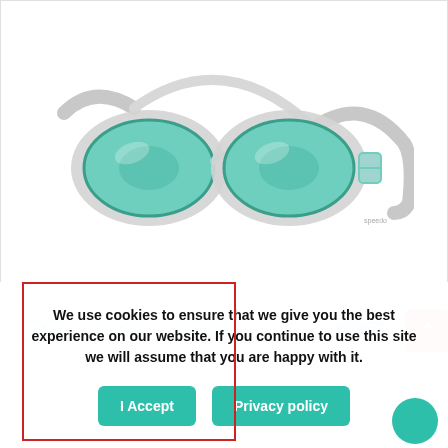[Figure (photo): Swimming goggles with white/silver frame, teal/green lenses, and elastic strap on white background]
[Figure (photo): Thumbnail strip showing multiple views of swimming goggles]
We use cookies to ensure that we give you the best experience on our website. If you continue to use this site we will assume that you are happy with it.